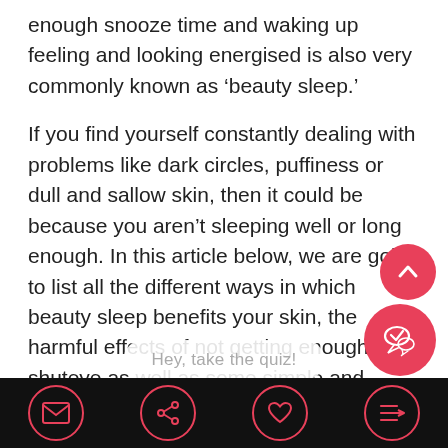enough snooze time and waking up feeling and looking energised is also very commonly known as ‘beauty sleep.’
If you find yourself constantly dealing with problems like dark circles, puffiness or dull and sallow skin, then it could be because you aren’t sleeping well or long enough. In this article below, we are going to list all the different ways in which beauty sleep benefits your skin, the harmful effects of not getting enough shuteye as well as some simple and effective tips to maximise your beauty sleep help wake up with refreshed skin. Isn’t that
Hey, take the quiz!
[Figure (screenshot): Mobile app bottom navigation bar with four circular icons on a black background: email/envelope icon, share icon, heart/favourite icon, and a menu/forward icon. All icons outlined in pink/red.]